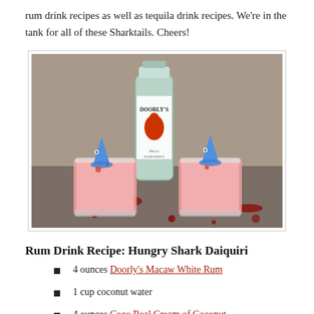rum drink recipes as well as tequila drink recipes. We're in the tank for all of these Sharktails. Cheers!
[Figure (photo): Two pink frozen drinks in short glasses with blue plastic shark fins sticking out, placed in front of a bottle of Doorly's Macaw White Rum, with red grenadine drizzled around the base on a stone surface.]
Rum Drink Recipe: Hungry Shark Daiquiri
4 ounces Doorly's Macaw White Rum
1 cup coconut water
4 ounces Coco Real Cream of Coconut
1 ounce grenadine (plus more to pour into the shark's mouth)